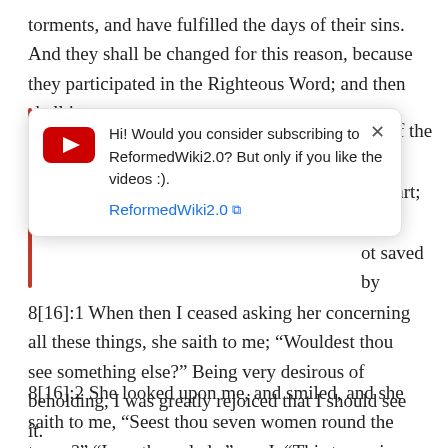torments, and have fulfilled the days of their sins. And they shall be changed for this reason, because they participated in the Righteous Word; and then shall it
[Figure (screenshot): YouTube subscription popup overlay with red YouTube play button icon, text 'Hi! Would you consider subscribing to ReformedWiki2.0? But only if you like the videos :).' and a blue link 'ReformedWiki2.0' with external link icon. An X close button is in the top right.]
nts, if the evil ir heart; but if ot saved by
8[16]:1 When then I ceased asking her concerning all these things, she saith to me; “Wouldest thou see something else?” Being very desirous of beholding, I was greatly rejoiced that I should see it.
8[16]:2 She looked upon me, and smiled, and she saith to me, “Seest thou seven women round the tower?” “I see them, lady,” say I. “This tower is supported by them